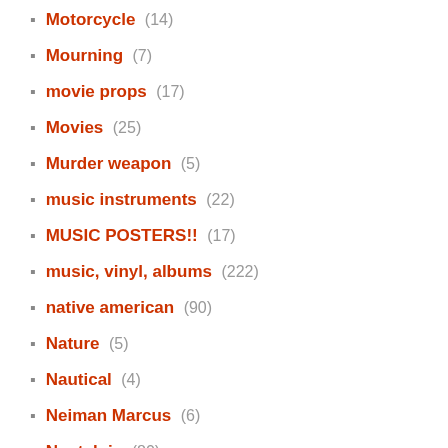Motorcycle (14)
Mourning (7)
movie props (17)
Movies (25)
Murder weapon (5)
music instruments (22)
MUSIC POSTERS!! (17)
music, vinyl, albums (222)
native american (90)
Nature (5)
Nautical (4)
Neiman Marcus (6)
Nostalgia (80)
occult (68)
oddfellows (14)
Office (2)
Old Mexico (2)
Old paper (23)
Owls (10)
paintings (32)
Patio (7)
patriotism (26)